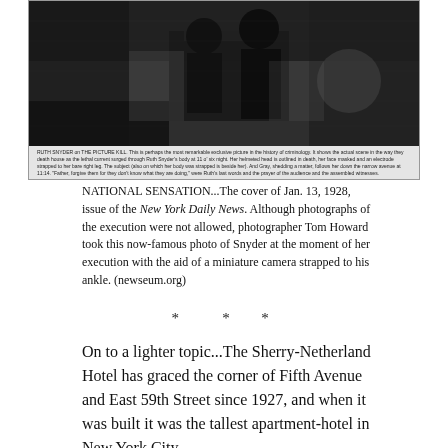[Figure (photo): Black and white photograph of Ruth Snyder at the moment of her execution in the electric chair, taken by photographer Tom Howard with a miniature camera strapped to his ankle. The image appeared on the cover of the New York Daily News on January 13, 1928. Below the main image is a small text caption band.]
NATIONAL SENSATION...The cover of Jan. 13, 1928, issue of the New York Daily News. Although photographs of the execution were not allowed, photographer Tom Howard took this now-famous photo of Snyder at the moment of her execution with the aid of a miniature camera strapped to his ankle. (newseum.org)
* * *
On to a lighter topic...The Sherry-Netherland Hotel has graced the corner of Fifth Avenue and East 59th Street since 1927, and when it was built it was the tallest apartment-hotel in New York City.